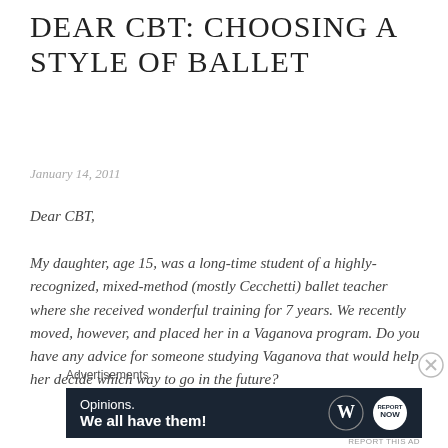DEAR CBT: CHOOSING A STYLE OF BALLET
January 14, 2011
Dear CBT,
My daughter, age 15, was a long-time student of a highly-recognized, mixed-method (mostly Cecchetti) ballet teacher where she received wonderful training for 7 years. We recently moved, however, and placed her in a Vaganova program. Do you have any advice for someone studying Vaganova that would help her decide which way to go in the future?
Advertisements
[Figure (other): WordPress advertisement banner: dark navy background with text 'Opinions. We all have them!' and WordPress and NOW logos on the right.]